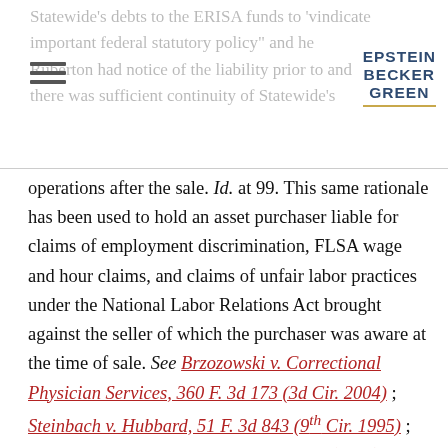Statewide's debts to the ERISA funds to 'vindicate important federal statutory policy' and he Ruberton had notice of the liability prior to and there was sufficient continuity of Statewide's
[Figure (logo): Epstein Becker Green law firm logo with gold underline]
operations after the sale. Id. at 99. This same rationale has been used to hold an asset purchaser liable for claims of employment discrimination, FLSA wage and hour claims, and claims of unfair labor practices under the National Labor Relations Act brought against the seller of which the purchaser was aware at the time of sale. See Brzozowski v. Correctional Physician Services, 360 F. 3d 173 (3d Cir. 2004) ; Steinbach v. Hubbard, 51 F. 3d 843 (9th Cir. 1995) ; Golden State Bottling Co., 414 U.S. 168 (1973) .